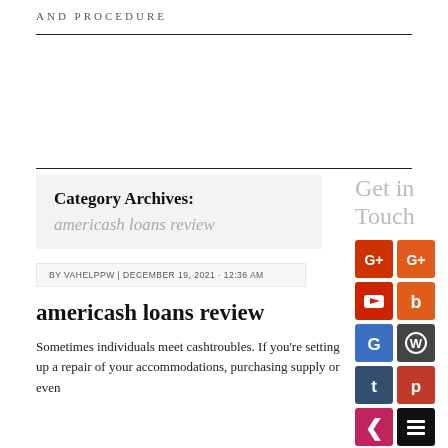AND PROCEDURE
Category Archives:
americash loans review
BY VAHELPPW | DECEMBER 19, 2021 · 12:36 AM
americash loans review
Sometimes individuals meet cashtroubles. If you're setting up a repair of your accommodations, purchasing supply or even
Get in Touch